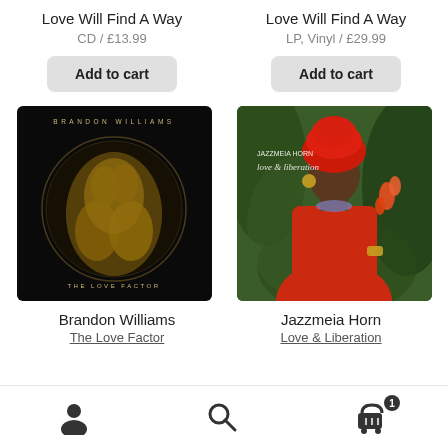Love Will Find A Way
CD / £13.99
Add to cart
Love Will Find A Way
LP, Vinyl / £29.99
Add to cart
[Figure (photo): Brandon Williams – The Love Factor album cover: dark background with golden hands forming a circle, text 'BRANDON WILLIAMS' at top and 'THE LOVE FACTOR' at bottom]
[Figure (photo): Jazzmeia Horn – Love & Liberation album cover: woman in red headwrap and red jacket among tropical plants, text 'JAZZMEIA HORN love & liberation' overlaid]
Brandon Williams
The Love Factor
Jazzmeia Horn
Love & Liberation